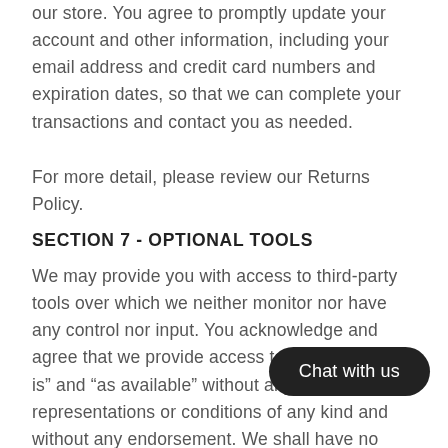our store. You agree to promptly update your account and other information, including your email address and credit card numbers and expiration dates, so that we can complete your transactions and contact you as needed.
For more detail, please review our Returns Policy.
SECTION 7 - OPTIONAL TOOLS
We may provide you with access to third-party tools over which we neither monitor nor have any control nor input. You acknowledge and agree that we provide access to such tools “as is” and “as available” without any warranties, representations or conditions of any kind and without any endorsement. We shall have no liability whatsoever arising from or relating to your use of optional tools offered b… Any use by you of optional tools offered b… entirely at your own risk and discretion and you should